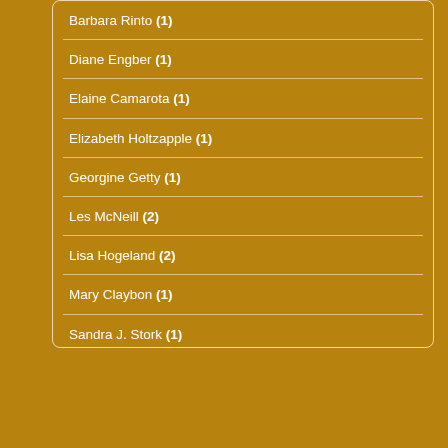Barbara Rinto (1)
Diane Engber (1)
Elaine Camarota (1)
Elizabeth Holtzapple (1)
Georgine Getty (1)
Les McNeill (2)
Lisa Hogeland (2)
Mary Claybon (1)
Sandra J. Stork (1)
Suzanne W Crable (2)
Uncategorized (6)